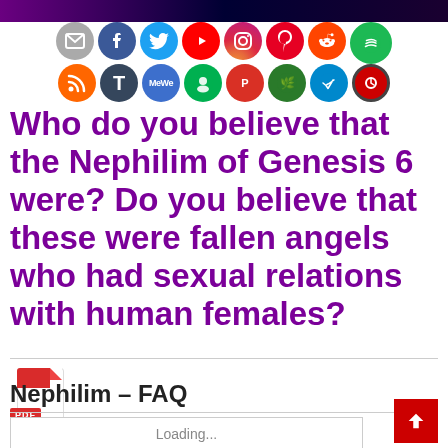[Figure (infographic): Social media sharing icons row 1: email, Facebook, Twitter, YouTube, Instagram, Pinterest, Reddit, Spotify]
[Figure (infographic): Social media sharing icons row 2: RSS, Tumblr, MeWe, Gab, Parler, vegan icon, Telegram, Odysee]
Who do you believe that the Nephilim of Genesis 6 were? Do you believe that these were fallen angels who had sexual relations with human females?
[Figure (other): PDF file icon with red top and PDF badge label]
Nephilim – FAQ
Loading...